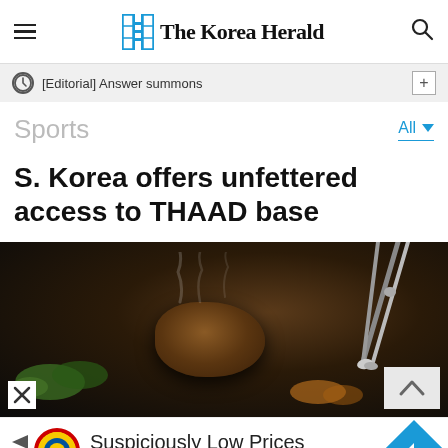The Korea Herald
[Editorial] Answer summons
Sports
S. Korea offers unfettered access to THAAD base
[Figure (photo): Food photo showing tongs holding a piece of grilled meat with steam, vegetables in background, dark background]
Suspiciously Low Prices
Lidl